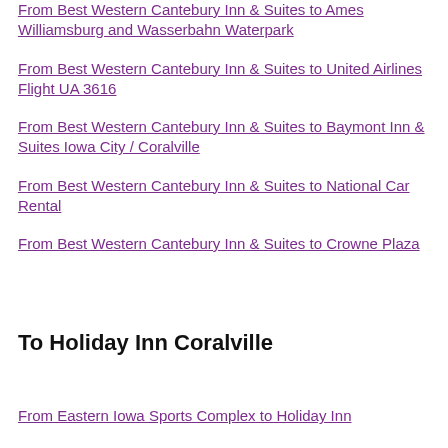From Best Western Cantebury Inn & Suites to Ames Williamsburg and Wasserbahn Waterpark
From Best Western Cantebury Inn & Suites to United Airlines Flight UA 3616
From Best Western Cantebury Inn & Suites to Baymont Inn & Suites Iowa City / Coralville
From Best Western Cantebury Inn & Suites to National Car Rental
From Best Western Cantebury Inn & Suites to Crowne Plaza
To Holiday Inn Coralville
From Eastern Iowa Sports Complex to Holiday Inn